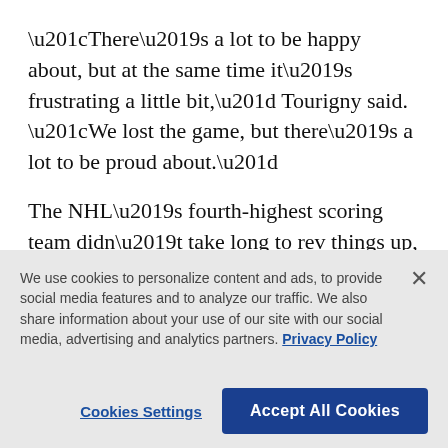“There’s a lot to be happy about, but at the same time it’s frustrating a little bit,” Tourigny said. “We lost the game, but there’s a lot to be proud about.”
The NHL’s fourth-highest scoring team didn’t take long to rev things up, scoring 3:13 in when Faulk beat Sateri through a screen.
Barbashev scored 2 1/2 minutes later, punching a rebound on a shot by Faulk that trickled through Sateri’s pads. Saad made it 3-0 late in the first period,
We use cookies to personalize content and ads, to provide social media features and to analyze our traffic. We also share information about your use of our site with our social media, advertising and analytics partners. Privacy Policy
Cookies Settings
Accept All Cookies